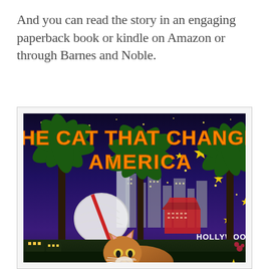And you can read the story in an engaging paperback book or kindle on Amazon or through Barnes and Noble.
[Figure (illustration): Book cover illustration for 'The Cat That Changed America' showing a nighttime Hollywood scene with palm trees, stars, city buildings, a cat in the foreground, and the Hollywood sign. Title text in orange letters.]